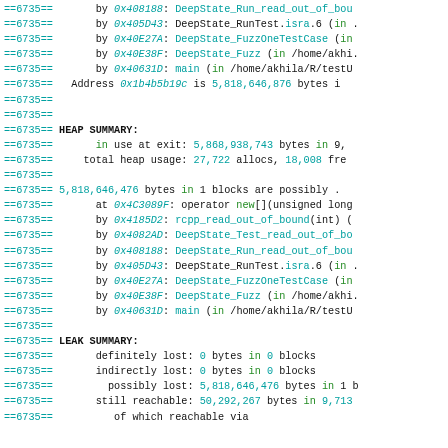==6735== by 0x408188: DeepState_Run_read_out_of_bou
==6735== by 0x405D43: DeepState_RunTest.isra.6 (in .
==6735== by 0x40E27A: DeepState_FuzzOneTestCase (in
==6735== by 0x40E38F: DeepState_Fuzz (in /home/akhi.
==6735== by 0x40631D: main (in /home/akhila/R/testU
==6735== Address 0x1b4b5b19c is 5,818,646,876 bytes i
==6735==
==6735==
==6735== HEAP SUMMARY:
==6735== in use at exit: 5,868,938,743 bytes in 9,
==6735== total heap usage: 27,722 allocs, 18,008 fre
==6735==
==6735== 5,818,646,476 bytes in 1 blocks are possibly .
==6735== at 0x4C3089F: operator new[](unsigned long
==6735== by 0x4185D2: rcpp_read_out_of_bound(int) (
==6735== by 0x4082AD: DeepState_Test_read_out_of_bo
==6735== by 0x408188: DeepState_Run_read_out_of_bou
==6735== by 0x405D43: DeepState_RunTest.isra.6 (in .
==6735== by 0x40E27A: DeepState_FuzzOneTestCase (in
==6735== by 0x40E38F: DeepState_Fuzz (in /home/akhi.
==6735== by 0x40631D: main (in /home/akhila/R/testU
==6735==
==6735== LEAK SUMMARY:
==6735== definitely lost: 0 bytes in 0 blocks
==6735== indirectly lost: 0 bytes in 0 blocks
==6735== possibly lost: 5,818,646,476 bytes in 1 b
==6735== still reachable: 50,292,267 bytes in 9,713
==6735== of which reachable via